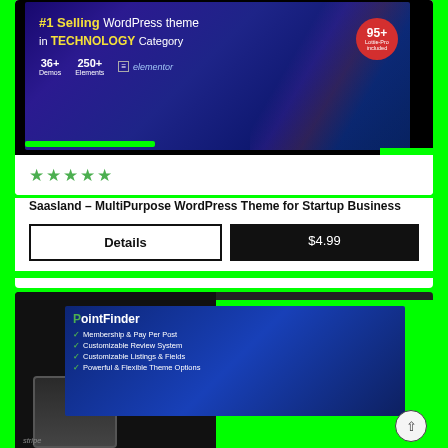[Figure (screenshot): Top product listing card showing a WordPress theme banner with '#1 Selling WordPress theme in TECHNOLOGY Category', stats showing 36+ Demos, 250+ Elements, Elementor, 95+ badge, with a green bar and star rating]
Saasland – MultiPurpose WordPress Theme for Startup Business
Details | $4.99
[Figure (screenshot): Bottom product listing card showing aThemez PointFinder theme with tablet mockup, featuring 'Membership & Pay Per Post', 'Customizable Review System', 'Customizable Listings & Fields', 'Powerful & Flexible Theme Options' and a scroll-to-top button]